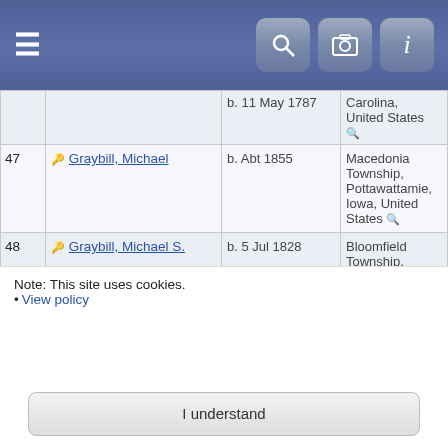≡ [search] [camera] [info]
| # | Name | Date | Place |
| --- | --- | --- | --- |
|  |  | b. 11 May 1787 | Carolina, United States 🔍 |
| 47 | Graybill, Michael | b. Abt 1855 | Macedonia Township, Pottawattamie, Iowa, United States 🔍 |
| 48 | Graybill, Michael S. | b. 5 Jul 1828 | Bloomfield Township, Jackson, Ohio, United States 🔍 |
| 49 | Graybill, Nancy Mary | b. 9 Jun 1789 | , Wilkes (now Ashe), North Carolina, United States 🔍 |
| 50 | Graybill, Patience Elizabeth |  | Macedonia, |
Note: This site uses cookies.
• View policy
I understand